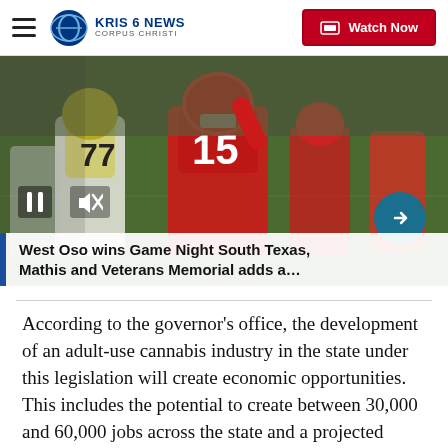KRIS 6 NEWS CORPUS CHRISTI — Watch Now
[Figure (photo): Football players in red jerseys on a field. Player #15 is in the foreground, player #77 in white is visible on the left.]
West Oso wins Game Night South Texas, Mathis and Veterans Memorial adds a…
According to the governor's office, the development of an adult-use cannabis industry in the state under this legislation will create economic opportunities. This includes the potential to create between 30,000 and 60,000 jobs across the state and a projected $250